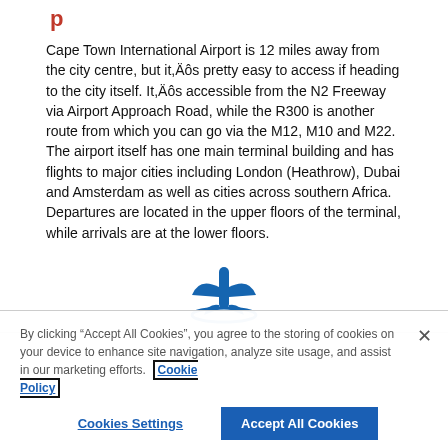p
Cape Town International Airport is 12 miles away from the city centre, but it,Äôs pretty easy to access if heading to the city itself. It,Äôs accessible from the N2 Freeway via Airport Approach Road, while the R300 is another route from which you can go via the M12, M10 and M22.
The airport itself has one main terminal building and has flights to major cities including London (Heathrow), Dubai and Amsterdam as well as cities across southern Africa. Departures are located in the upper floors of the terminal, while arrivals are at the lower floors.
[Figure (logo): Airport logo icon - stylized aircraft/terminal symbol in blue]
By clicking “Accept All Cookies”, you agree to the storing of cookies on your device to enhance site navigation, analyze site usage, and assist in our marketing efforts. Cookie Policy
Cookies Settings
Accept All Cookies